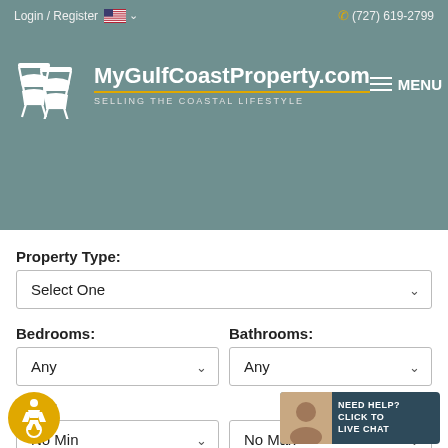Login / Register   (727) 619-2799
[Figure (logo): MyGulfCoastProperty.com logo with two Adirondack chairs and tagline SELLING THE COASTAL LIFESTYLE, plus hamburger MENU button]
Property Type:
Select One
Bedrooms:
Any
Bathrooms:
Any
Price:
No Min
No Max
Do You Require Lender Information?
Yes   No
tions / Where Are You Looking?